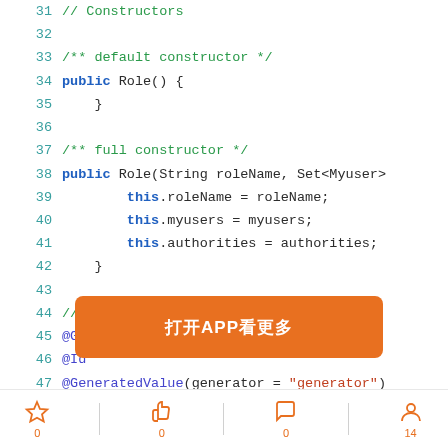[Figure (screenshot): Java source code showing a Role class with constructors and JPA annotations. Line numbers 31-49 visible. An orange overlay banner with text '打开APP看更多' is displayed over lines 44-46. A footer bar shows social interaction icons (star, thumbs up, comment, user) with counts 0, 0, 0, 14.]